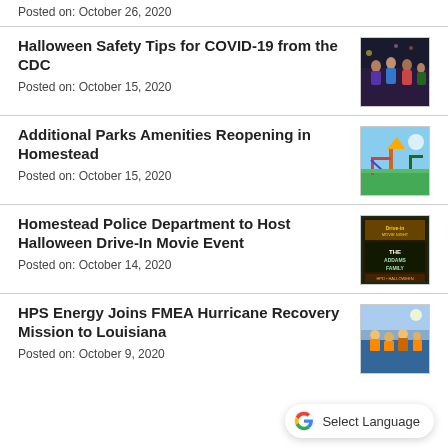Posted on: October 26, 2020
Halloween Safety Tips for COVID-19 from the CDC
Posted on: October 15, 2020
Additional Parks Amenities Reopening in Homestead
Posted on: October 15, 2020
Homestead Police Department to Host Halloween Drive-In Movie Event
Posted on: October 14, 2020
HPS Energy Joins FMEA Hurricane Recovery Mission to Louisiana
Posted on: October 9, 2020